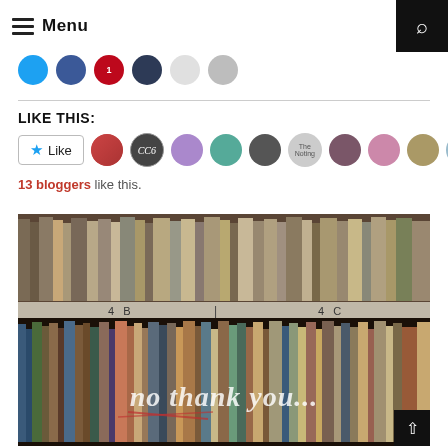Menu
[Figure (illustration): Social sharing icons: Twitter (blue), Facebook (blue), Pinterest (red), dark circle, light circle, gray circle]
LIKE THIS:
[Figure (illustration): Like button with star icon and 10 blogger avatar thumbnails]
13 bloggers like this.
[Figure (photo): Library bookshelf with sections labeled 4B and 4C, overlaid with italic text 'no thank you...']